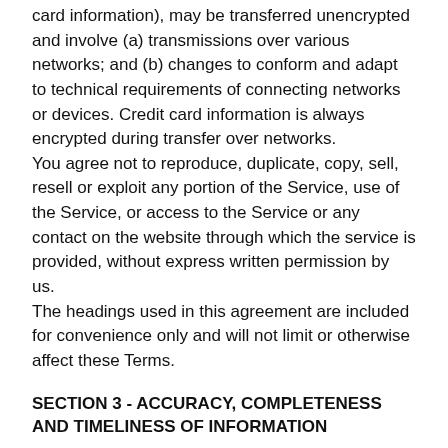card information), may be transferred unencrypted and involve (a) transmissions over various networks; and (b) changes to conform and adapt to technical requirements of connecting networks or devices. Credit card information is always encrypted during transfer over networks.
You agree not to reproduce, duplicate, copy, sell, resell or exploit any portion of the Service, use of the Service, or access to the Service or any contact on the website through which the service is provided, without express written permission by us.
The headings used in this agreement are included for convenience only and will not limit or otherwise affect these Terms.
SECTION 3 - ACCURACY, COMPLETENESS AND TIMELINESS OF INFORMATION
We are not responsible if information made available on this site is not accurate, complete or current. The